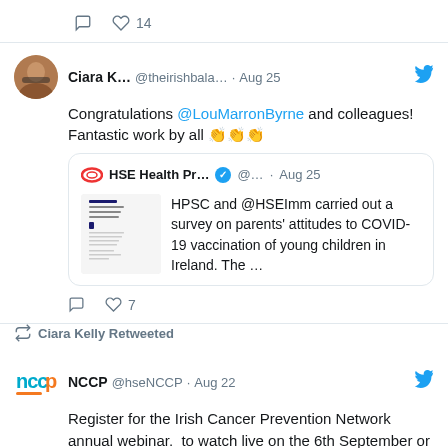[Figure (screenshot): Top partial tweet showing reply and like icons with count 14]
Ciara K... @theirishbala... · Aug 25
Congratulations @LouMarronByrne and colleagues! Fantastic work by all 👏👏👏
[Figure (screenshot): Quoted tweet from HSE Health Pr... @... · Aug 25 with thumbnail of paper. Text: HPSC and @HSEImm carried out a survey on parents' attitudes to COVID-19 vaccination of young children in Ireland. The ...]
Reply 7
Ciara Kelly Retweeted
NCCP @hseNCCP · Aug 22
Register for the Irish Cancer Prevention Network annual webinar.  to watch live on the 6th September or to receive a recording of the webinar.